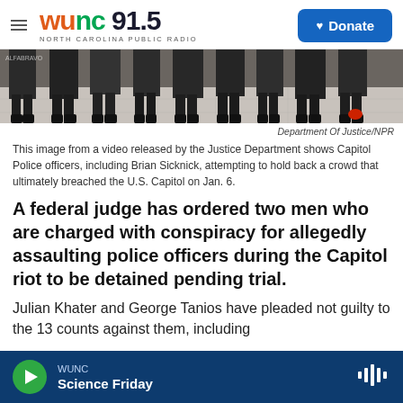WUNC 91.5 NORTH CAROLINA PUBLIC RADIO — Donate
[Figure (photo): Video still showing feet and legs of Capitol Police officers standing on a tiled floor, with a red object visible on the ground to the right.]
Department Of Justice/NPR
This image from a video released by the Justice Department shows Capitol Police officers, including Brian Sicknick, attempting to hold back a crowd that ultimately breached the U.S. Capitol on Jan. 6.
A federal judge has ordered two men who are charged with conspiracy for allegedly assaulting police officers during the Capitol riot to be detained pending trial.
Julian Khater and George Tanios have pleaded not guilty to the 13 counts against them, including...
WUNC — Science Friday